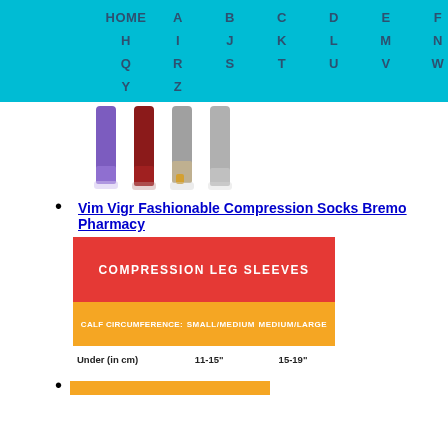HOME A B C D E F G H I J K L M N O P Q R S T U V W X Y Z
[Figure (photo): Four pairs of compression socks/leggings shown on legs: purple, red/maroon, gray patterned, gray solid]
Vim Vigr Fashionable Compression Socks Bremo Pharmacy
[Figure (infographic): Red banner with text COMPRESSION LEG SLEEVES, orange sub-banner with CALF CIRCUMFERENCE, Small/Medium, Medium/Large]
|  | Small/Medium | Medium/Large |
| --- | --- | --- |
| Under (in cm) | 11-15" | 15-19" |